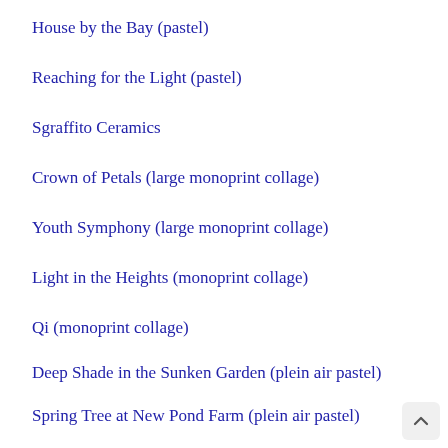House by the Bay (pastel)
Reaching for the Light (pastel)
Sgraffito Ceramics
Crown of Petals (large monoprint collage)
Youth Symphony (large monoprint collage)
Light in the Heights (monoprint collage)
Qi (monoprint collage)
Deep Shade in the Sunken Garden (plein air pastel)
Spring Tree at New Pond Farm (plein air pastel)
To the Left of the Entrance at New Pond Farm (pastel)